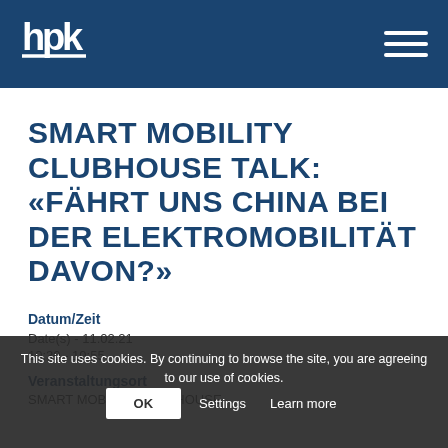hpk logo and navigation menu
SMART MOBILITY CLUBHOUSE TALK: «FÄHRT UNS CHINA BEI DER ELEKTROMOBILITÄT DAVON?»
Datum/Zeit
Date(s) - 11.02.21
10:30 - 10:55
Veranstaltungsort
SMART MOBILITY CLUBHOUSE
This site uses cookies. By continuing to browse the site, you are agreeing to our use of cookies.